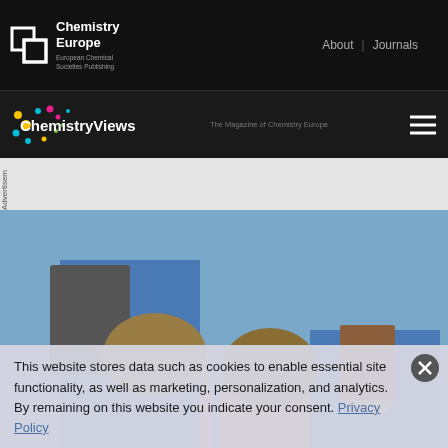[Figure (logo): Chemistry Europe logo with white icon and text on black bar, with About | Journals navigation links]
[Figure (logo): ChemistryViews logo with colorful dots, tagline 'The Magazine of Chemistry Europe' and hamburger menu on dark bar]
Advertisem
[Figure (photo): Photo of people studying/working outdoors, viewed from above showing tops of heads with a person in blue shirt holding materials]
This website stores data such as cookies to enable essential site functionality, as well as marketing, personalization, and analytics. By remaining on this website you indicate your consent. Privacy Policy